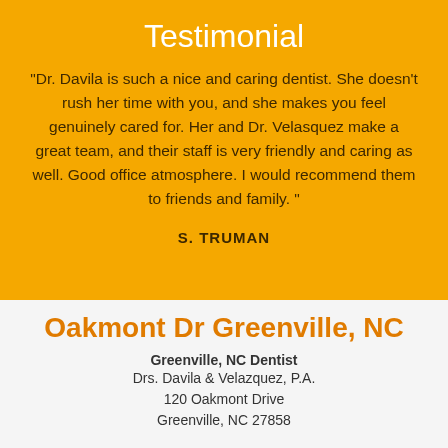Testimonial
"Dr. Davila is such a nice and caring dentist. She doesn’t rush her time with you, and she makes you feel genuinely cared for. Her and Dr. Velasquez make a great team, and their staff is very friendly and caring as well. Good office atmosphere. I would recommend them to friends and family. "
S. TRUMAN
Oakmont Dr Greenville, NC
Greenville, NC Dentist
Drs. Davila & Velazquez, P.A.
120 Oakmont Drive
Greenville, NC 27858